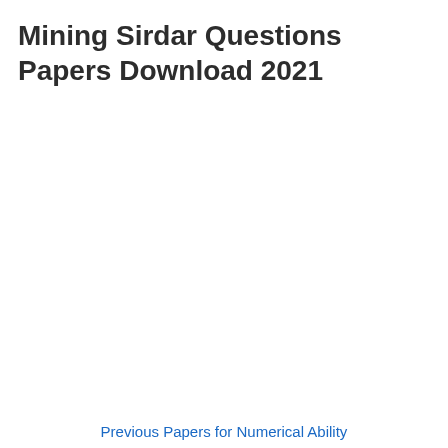Mining Sirdar Questions Papers Download 2021
Previous Papers for Numerical Ability